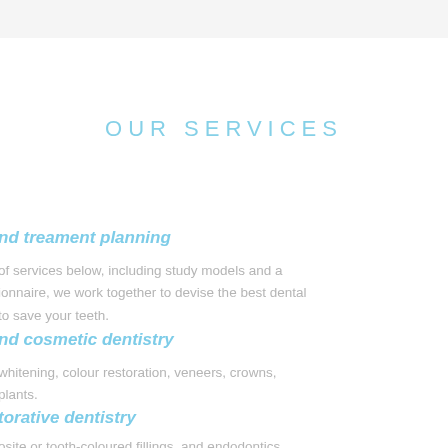OUR SERVICES
nd treament planning
of services below, including study models and a ionnaire, we work together to devise the best dental to save your teeth.
nd cosmetic dentistry
whitening, colour restoration, veneers, crowns, plants.
torative dentistry
osite or tooth-coloured fillings, and endodontics